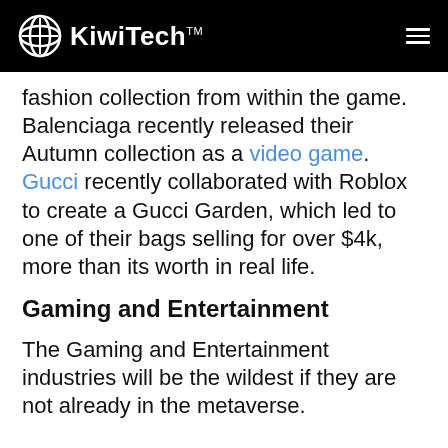KiwiTech™
fashion collection from within the game. Balenciaga recently released their Autumn collection as a video game. Gucci recently collaborated with Roblox to create a Gucci Garden, which led to one of their bags selling for over $4k, more than its worth in real life.
Gaming and Entertainment
The Gaming and Entertainment industries will be the wildest if they are not already in the metaverse.